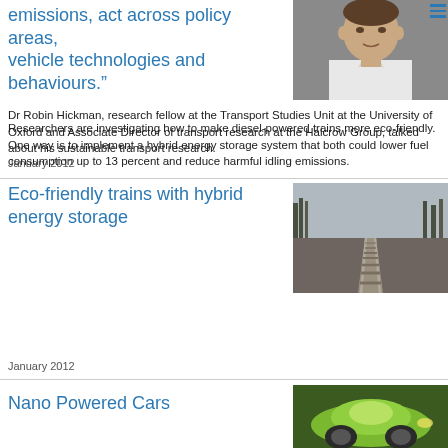emissions, act across policy areas, vehicle technologies and behaviours.”
[Figure (photo): Photo of Dr Robin Hickman, a man in a white shirt speaking]
Dr Robin Hickman, research fellow at the Transport Studies Unit at the University of Oxford and Associate Director of transport research at the Halcrow Group, talked about his sustainable transport research.
January 2012
Eco-friendly trains with hybrid energy storage
[Figure (photo): Photo of railway tracks extending into the distance]
Researchers are investigating how to make diesel-powered trains more eco-friendly. One way is to implement a hybrid energy storage system that both could lower fuel consumption up to 13 percent and reduce harmful idling emissions.
January 2012
Nano Powered Cars
[Figure (photo): Photo of a bright green car]